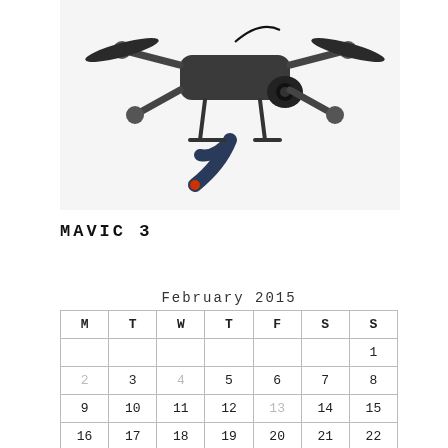[Figure (photo): DJI Mavic 3 drone photographed from below-front angle, showing folded propellers with red/orange tips, camera gimbal, and landing gear against a white background.]
MAVIC 3
| M | T | W | T | F | S | S |
| --- | --- | --- | --- | --- | --- | --- |
|  |  |  |  |  |  | 1 |
| 2 | 3 | 4 | 5 | 6 | 7 | 8 |
| 9 | 10 | 11 | 12 | 13 | 14 | 15 |
| 16 | 17 | 18 | 19 | 20 | 21 | 22 |